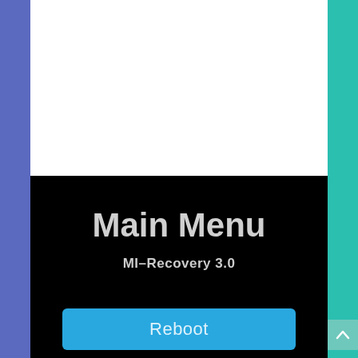[Figure (screenshot): Screenshot of a mobile device recovery screen showing 'Main Menu' title in large bold gray text, 'MI-Recovery 3.0' subtitle below it, on a black background, with a blue rounded 'Reboot' button at the bottom.]